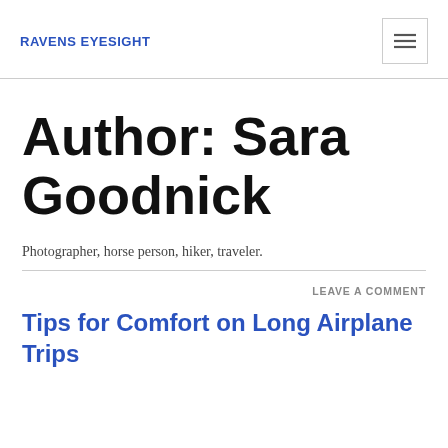RAVENS EYESIGHT
Author: Sara Goodnick
Photographer, horse person, hiker, traveler.
LEAVE A COMMENT
Tips for Comfort on Long Airplane Trips